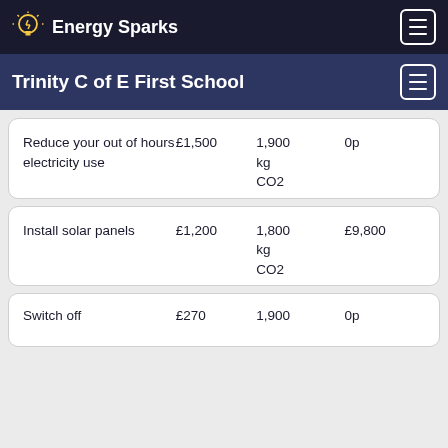Energy Sparks
Trinity C of E First School
| Action | Saving | CO2 | Cost |
| --- | --- | --- | --- |
| Reduce your out of hours electricity use | £1,500 | 1,900 kg CO2 | 0p |
| Install solar panels | £1,200 | 1,800 kg CO2 | £9,800 |
| Switch off | £270 | 1,900 | 0p |